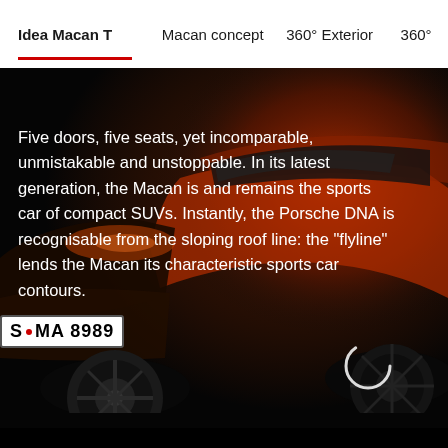Idea Macan T   Macan concept   360° Exterior   360°
[Figure (photo): Dark photograph of a red/orange Porsche Macan SUV, front-left angle, showing the sloping roofline and front wheel, with a German license plate S·MA 8989 visible at lower left. A loading spinner circle is visible in the center-right area.]
Five doors, five seats, yet incomparable, unmistakable and unstoppable. In its latest generation, the Macan is and remains the sports car of compact SUVs. Instantly, the Porsche DNA is recognisable from the sloping roof line: the "flyline" lends the Macan its characteristic sports car contours.